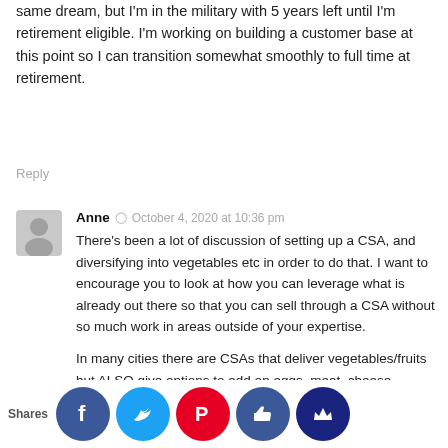same dream, but I'm in the military with 5 years left until I'm retirement eligible. I'm working on building a customer base at this point so I can transition somewhat smoothly to full time at retirement.
Reply
Anne  October 4, 2020 at 10:36 pm
There's been a lot of discussion of setting up a CSA, and diversifying into vegetables etc in order to do that. I want to encourage you to look at how you can leverage what is already out there so that you can sell through a CSA without so much work in areas outside of your expertise.

In many cities there are CSAs that deliver vegetables/fruits but ALSO give options to add on eggs, meat, cheese, honey, etc that comes from other local farms. Great for customers because then they can get all types of farm-fresh food at once, great for you because you can get customers without having to do as much logistics and marketing (and get
Shares